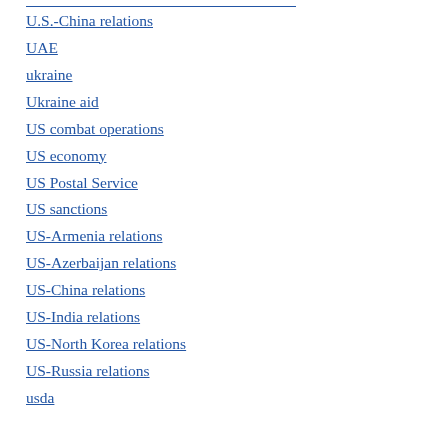U.S.-China relations
UAE
ukraine
Ukraine aid
US combat operations
US economy
US Postal Service
US sanctions
US-Armenia relations
US-Azerbaijan relations
US-China relations
US-India relations
US-North Korea relations
US-Russia relations
usda